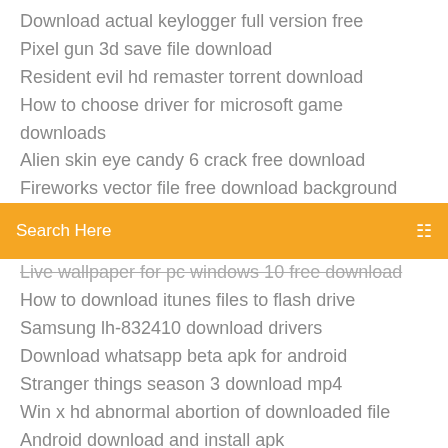Download actual keylogger full version free
Pixel gun 3d save file download
Resident evil hd remaster torrent download
How to choose driver for microsoft game downloads
Alien skin eye candy 6 crack free download
Fireworks vector file free download background
[Figure (screenshot): Orange search bar with text 'Search Here' and a menu icon on the right]
Live wallpaper for pc windows 10 free download
How to download itunes files to flash drive
Samsung lh-832410 download drivers
Download whatsapp beta apk for android
Stranger things season 3 download mp4
Win x hd abnormal abortion of downloaded file
Android download and install apk
Europa pc game download
Gamerguides pokemon ultra moon pdf free download
How to download video file from giphy website
Battlefield 4 commander app download